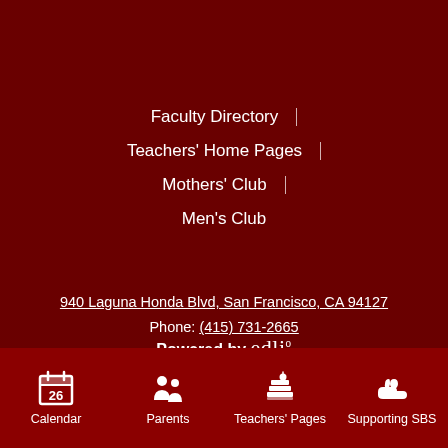Faculty Directory
Teachers' Home Pages
Mothers' Club
Men's Club
940 Laguna Honda Blvd, San Francisco, CA 94127
Phone: (415) 731-2665
Fax: (415) 731-7207
Powered by edlio
Calendar | Parents | Teachers' Pages | Supporting SBS